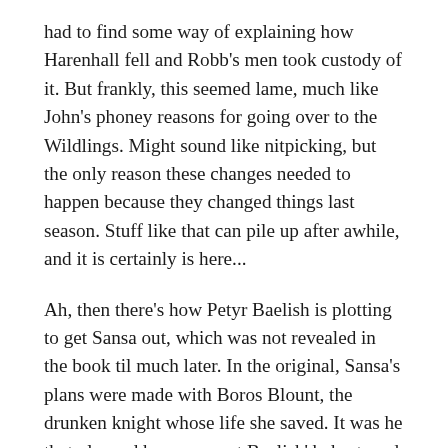had to find some way of explaining how Harenhall fell and Robb's men took custody of it. But frankly, this seemed lame, much like John's phoney reasons for going over to the Wildlings. Might sound like nitpicking, but the only reason these changes needed to happen because they changed things last season. Stuff like that can pile up after awhile, and it is certainly is here...
Ah, then there's how Petyr Baelish is plotting to get Sansa out, which was not revealed in the book til much later. In the original, Sansa's plans were made with Boros Blount, the drunken knight whose life she saved. It was he that planned her escape at Baelish' behest, and upon helping her realize it, he was killed. Clearly, they've decided to cut out the middle man in order to save on shooting time and